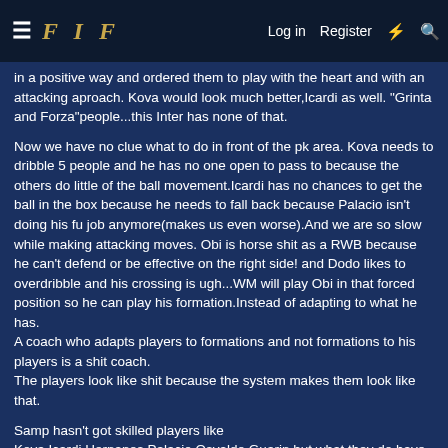FIF | Log in | Register
in a positive way and ordered them to play with the heart and with an attacking aproach. Kova would look much better,Icardi as well. "Grinta and Forza"people...this Inter has none of that.
Now we have no clue what to do in front of the pk area. Kova needs to dribble 5 people and he has no one open to pass to because the others do little of the ball movement.Icardi has no chances to get the ball in the box because he needs to fall back because Palacio isn't doing his fu job anymore(makes us even worse).And we are so slow while making attacking moves. Obi is horse shit as a RWB because he can't defend or be effective on the right side! and Dodo likes to overdribble and his crossing is ugh...WM will play Obi in that forced position so he can play his formation.Instead of adapting to what he has.
A coach who adapts players to formations and not formations to his players is a shit coach.
The players look like shit because the system makes them look like that.
Samp hasn't got skilled players like
Kova,Icardi,Hernanes,Palacio,Osvaldo,Guarin but what they do have